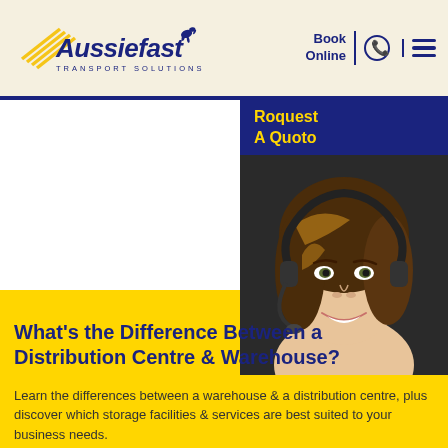[Figure (logo): Aussiefast Transport Solutions logo with kangaroo graphic and diagonal lines]
Book Online
[Figure (photo): Smiling woman with headset/microphone, customer service representative]
Roquest A Quoto
What’s the Difference Between a Distribution Centre & Warehouse?
Learn the differences between a warehouse & a distribution centre, plus discover which storage facilities & services are best suited to your business needs.